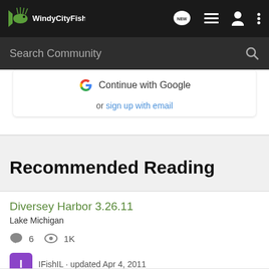Windy City Fishing
Search Community
Continue with Google
or sign up with email
Recommended Reading
Diversey Harbor 3.26.11
Lake Michigan
6  1K
IFishIL · updated Apr 4, 2011